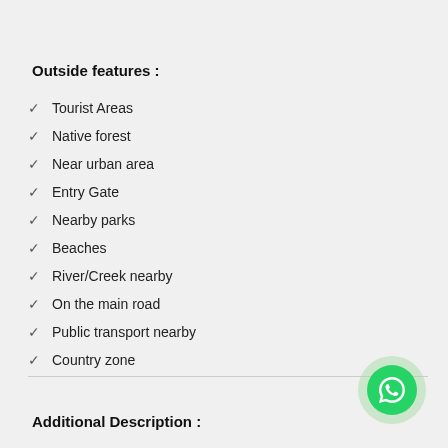Outside features :
Tourist Areas
Native forest
Near urban area
Entry Gate
Nearby parks
Beaches
River/Creek nearby
On the main road
Public transport nearby
Country zone
Additional Description :